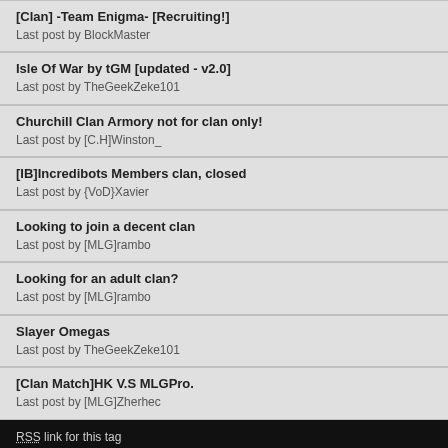[Clan] -Team Enigma- [Recruiting!]
Last post by BlockMaster
Isle Of War by tGM [updated - v2.0]
Last post by TheGeekZeke101
Churchill Clan Armory not for clan only!
Last post by [C.H]Winston_
[IB]Incredibots Members clan, closed
Last post by {VoD}Xavier
Looking to join a decent clan
Last post by [MLG]rambo
Looking for an adult clan?
Last post by [MLG]rambo
Slayer Omegas
Last post by TheGeekZeke101
[Clan Match]HK V.S MLGPro.
Last post by [MLG]Zherhec
RSS link for this tag